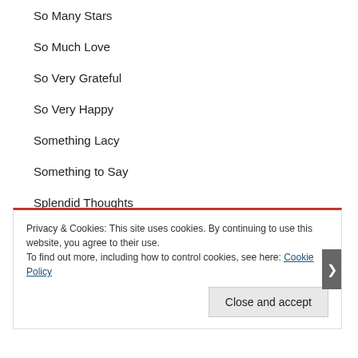So Many Stars
So Much Love
So Very Grateful
So Very Happy
Something Lacy
Something to Say
Splendid Thoughts
Spooktacular Bash
Spooky Sweets
Privacy & Cookies: This site uses cookies. By continuing to use this website, you agree to their use.
To find out more, including how to control cookies, see here: Cookie Policy
Close and accept